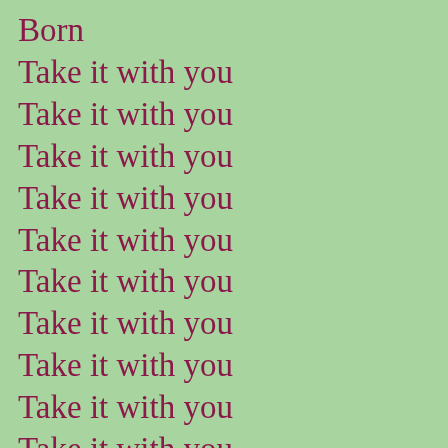Born
Take it with you
Take it with you
Take it with you
Take it with you
Take it with you
Take it with you
Take it with you
Take it with you
Take it with you
Take it with you
Take it with you